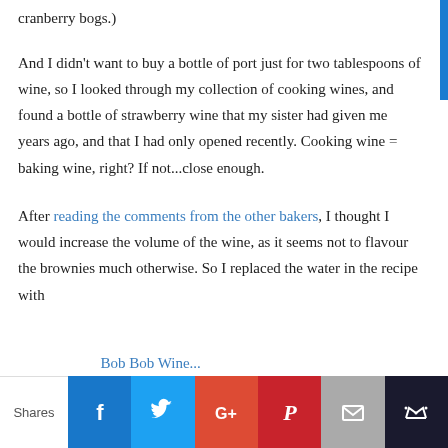cranberry bogs.)
And I didn't want to buy a bottle of port just for two tablespoons of wine, so I looked through my collection of cooking wines, and found a bottle of strawberry wine that my sister had given me years ago, and that I had only opened recently. Cooking wine = baking wine, right? If not...close enough.
After reading the comments from the other bakers, I thought I would increase the volume of the wine, as it seems not to flavour the brownies much otherwise. So I replaced the water in the recipe with
Shares | Facebook | Twitter | Google+ | Pinterest | Email | Crown